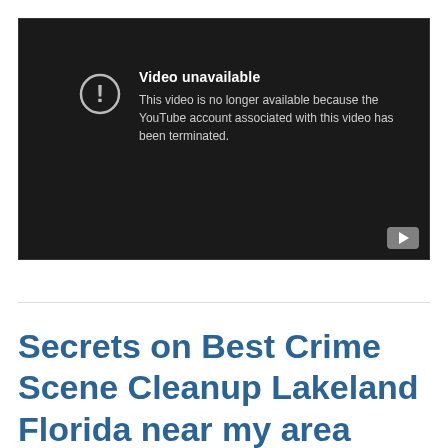[Figure (screenshot): YouTube embedded video player showing 'Video unavailable' error message with exclamation icon and text: 'This video is no longer available because the YouTube account associated with this video has been terminated.' Dark background with a YouTube play button icon in the bottom right corner.]
Secrets on Best Crime Scene Cleanup Lakeland Florida near my area